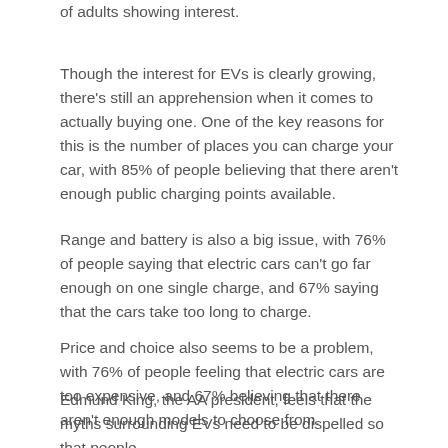of adults showing interest.
Though the interest for EVs is clearly growing, there's still an apprehension when it comes to actually buying one. One of the key reasons for this is the number of places you can charge your car, with 85% of people believing that there aren't enough public charging points available.
Range and battery is also a big issue, with 76% of people saying that electric cars can't go far enough on one single charge, and 67% saying that the cars take too long to charge.
Price and choice also seems to be a problem, with 76% of people feeling that electric cars are too expensive, and 67% believing that there aren't enough models to choose from.
Edmund King, the AA president, feels that the myths surrounding EVs need to be dispelled so that people